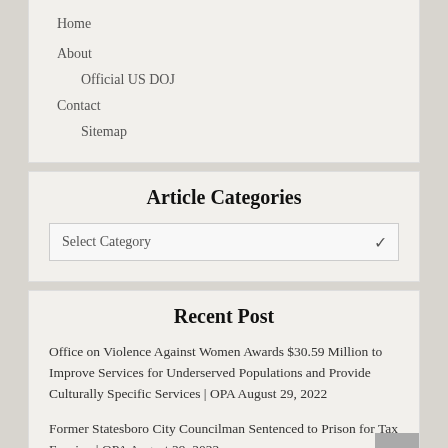Home
About
Official US DOJ
Contact
Sitemap
Article Categories
Select Category
Recent Post
Office on Violence Against Women Awards $30.59 Million to Improve Services for Underserved Populations and Provide Culturally Specific Services | OPA August 29, 2022
Former Statesboro City Councilman Sentenced to Prison for Tax Evasion | OPA August 29, 2022